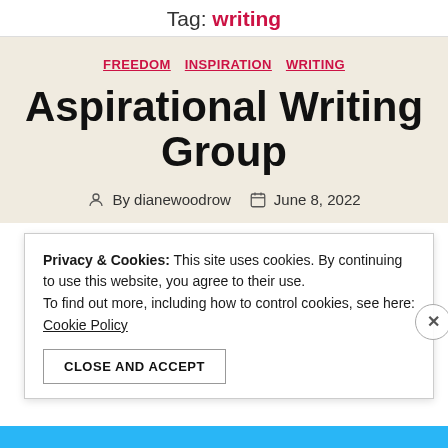Tag: writing
FREEDOM  INSPIRATION  WRITING
Aspirational Writing Group
By dianewoodrow   June 8, 2022
Privacy & Cookies: This site uses cookies. By continuing to use this website, you agree to their use.
To find out more, including how to control cookies, see here: Cookie Policy
CLOSE AND ACCEPT